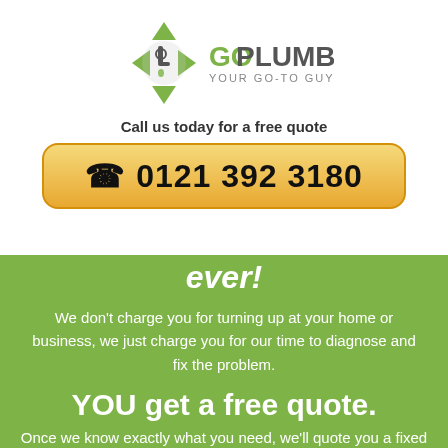[Figure (logo): GoPlumber logo with a tap/wrench icon surrounded by green arrows and the text GO PLUMBER YOUR GO-TO GUYS]
Call us today for a free quote
0121 392 3180
ever!
We don't charge you for turning up at your home or business, we just charge you for our time to diagnose and fix the problem.
YOU get a free quote.
Once we know exactly what you need, we'll quote you a fixed price so you know what it's going to cost you.